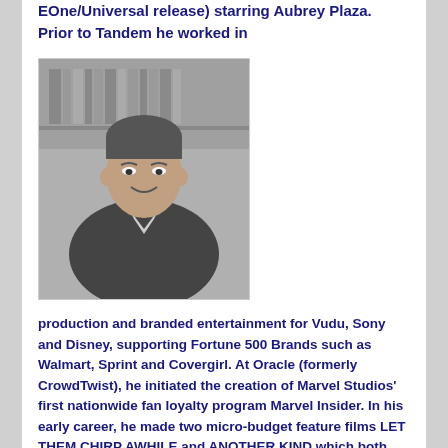EOne/Universal release) starring Aubrey Plaza. Prior to Tandem he worked in
[Figure (photo): Black and white portrait photo of a man in a suit jacket with arms crossed, smiling, with bookshelves in the background.]
production and branded entertainment for Vudu, Sony and Disney, supporting Fortune 500 Brands such as Walmart, Sprint and Covergirl. At Oracle (formerly CrowdTwist), he initiated the creation of Marvel Studios' first nationwide fan loyalty program Marvel Insider. In his early career, he made two micro-budget feature films LET THEM CHIRP AWHILE and ANOTHER KIND which both premiered at the Woodstock Film Festival which were distributed on Netflix and VOD. Early career roles include marketing